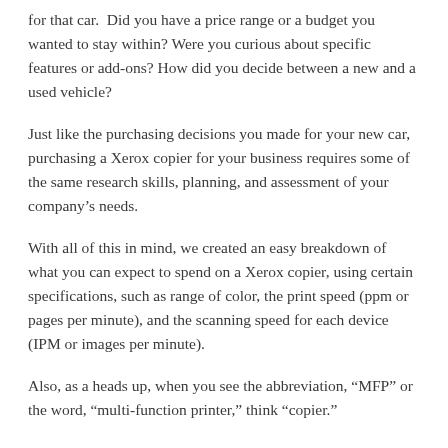for that car.  Did you have a price range or a budget you wanted to stay within? Were you curious about specific features or add-ons? How did you decide between a new and a used vehicle?
Just like the purchasing decisions you made for your new car, purchasing a Xerox copier for your business requires some of the same research skills, planning, and assessment of your company's needs.
With all of this in mind, we created an easy breakdown of what you can expect to spend on a Xerox copier, using certain specifications, such as range of color, the print speed (ppm or pages per minute), and the scanning speed for each device (IPM or images per minute).
Also, as a heads up, when you see the abbreviation, “MFP” or the word, “multi-function printer,” think “copier.”